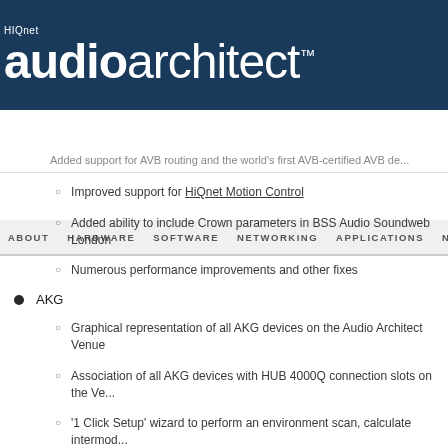HIQnet audioarchitect™
ABOUT  HARDWARE  SOFTWARE  NETWORKING  APPLICATIONS  NEWS
Added support for AVB routing and the world's first AVB-certified AVB de...
Improved support for HiQnet Motion Control
Added ability to include Crown parameters in BSS Audio Soundweb London
Numerous performance improvements and other fixes
AKG
Graphical representation of all AKG devices on the Audio Architect Venue
Association of all AKG devices with HUB 4000Q connection slots on the Ve...
'1 Click Setup' wizard to perform an environment scan, calculate intermod...
New AKG wireless Device Mode for AKG wireless microphone system solut...
Live mode: